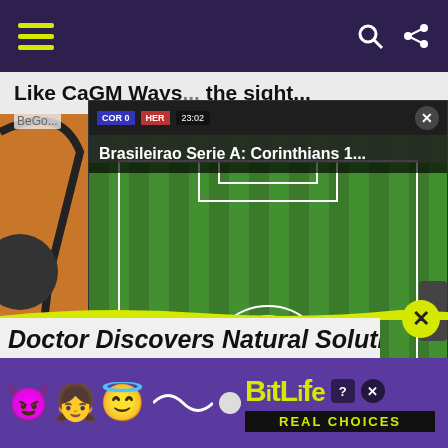☰ (hamburger) | ◗ 🔍 ⋊ (icons)
Like CaGM Ways... the sight...
BeGo...
[Figure (screenshot): Video overlay showing a soccer/football match (Brasileirao Serie A). Score display shows COR 0 vs HER with timer 23:02. Title reads 'Brasileirao Serie A: Corinthians 1...'. Play button visible in center of the match footage showing green field with players.]
[Figure (photo): Background photo showing a woman with headphones and glasses aiming a pistol/gun, close-up of face, blonde hair.]
Doctor Discovers Natural Solution To M...
[Figure (screenshot): BitLife advertisement banner with purple background showing emoji characters (devil, girl, angel) and BitLife logo in yellow with 'REAL CHOICES' text in black bar.]